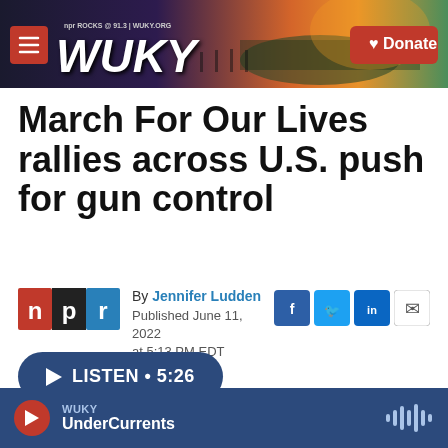[Figure (screenshot): WUKY NPR radio station header banner with sunset/landscape background, hamburger menu, WUKY logo, and red Donate button]
March For Our Lives rallies across U.S. push for gun control
By Jennifer Ludden
Published June 11, 2022 at 5:13 PM EDT
[Figure (logo): NPR logo with n in red, p in black, r in blue]
LISTEN • 5:26
WUKY UnderCurrents